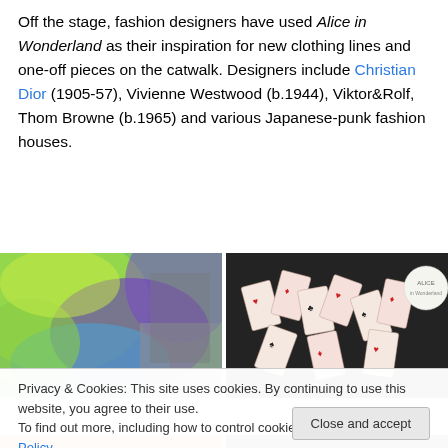Off the stage, fashion designers have used Alice in Wonderland as their inspiration for new clothing lines and one-off pieces on the catwalk. Designers include Christian Dior (1905-57), Vivienne Westwood (b.1944), Viktor&Rolf, Thom Browne (b.1965) and various Japanese-punk fashion houses.
[Figure (photo): Left: colorful green and purple swirling fabric/clothing on display. Right: a house of playing cards arrangement against dark background.]
Privacy & Cookies: This site uses cookies. By continuing to use this website, you agree to their use. To find out more, including how to control cookies, see here: Cookie Policy